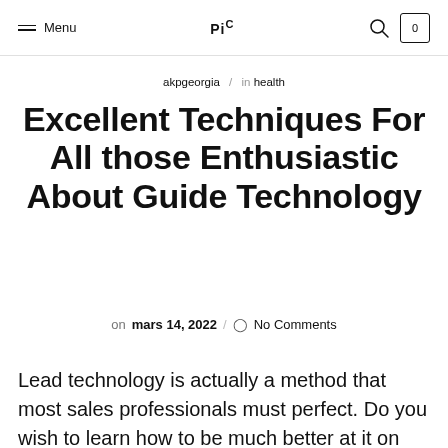Menu | PiC | 0
akpgeorgia / in health
Excellent Techniques For All those Enthusiastic About Guide Technology
on mars 14, 2022 / No Comments
Lead technology is actually a method that most sales professionals must perfect. Do you wish to learn how to be much better at it on